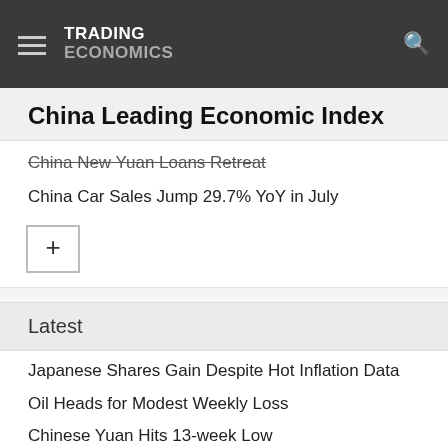TRADING ECONOMICS
China Leading Economic Index
China New Yuan Loans Retreat
China Car Sales Jump 29.7% YoY in July
Latest
Japanese Shares Gain Despite Hot Inflation Data
Oil Heads for Modest Weekly Loss
Chinese Yuan Hits 13-week Low
US Futures Ease as Stock Rally Cools
Japan Inflation Rate Highest in Near 8 Years
UK Consumer Confidence Hits New Record Low
TSX Regains Some Momentum